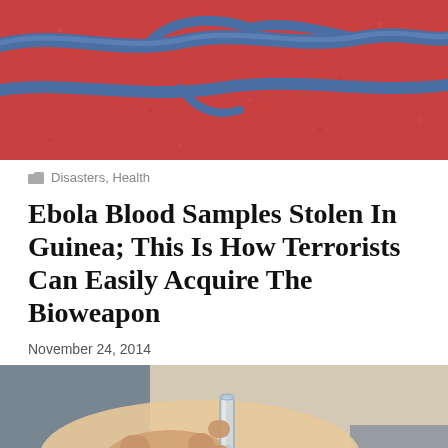[Figure (photo): Close-up microscopic illustration of Ebola virus with red textured surface and blue filamentous viral particles]
Disasters, Health
Ebola Blood Samples Stolen In Guinea; This Is How Terrorists Can Easily Acquire The Bioweapon
November 24, 2014
[Figure (photo): Close-up photo of a hand holding a glass test tube or vial, laboratory setting]